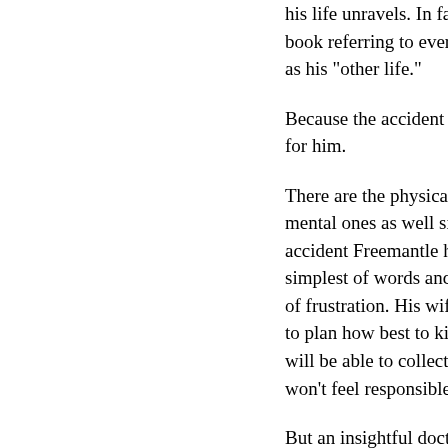his life unravels. In fact, Freemantle narrates the book referring to everything before the accident as his "other life."
Because the accident changes things that much for him.
There are the physical changes to overcome, but mental ones as well since for a time after the accident Freemantle has trouble saying the simplest of words and often flies into a red rage of frustration. His wife divorces him. He begins to plan how best to kill himself so that his family will be able to collect on his life insurance and won't feel responsible for his death.
But an insightful doctor convinces him to wait a year first. To go away and live in an entirely different